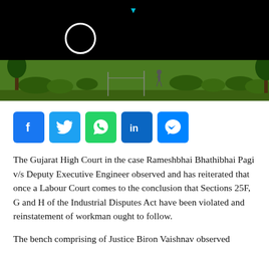[Figure (photo): Hero image with black background showing a white circle ring (like an eclipse or play button) and a small teal triangle/arrow at top center. At the bottom, a garden/park scene with green grass, trees, and a person walking.]
[Figure (infographic): Social sharing buttons row: Facebook (blue, f), Twitter (blue, bird), WhatsApp (green, phone), LinkedIn (dark blue, in), Messenger (blue, lightning bolt)]
The Gujarat High Court in the case Rameshbhai Bhathibhai Pagi v/s Deputy Executive Engineer observed and has reiterated that once a Labour Court comes to the conclusion that Sections 25F, G and H of the Industrial Disputes Act have been violated and reinstatement of workman ought to follow.
The bench comprising of Justice Biron Vaishnav observed